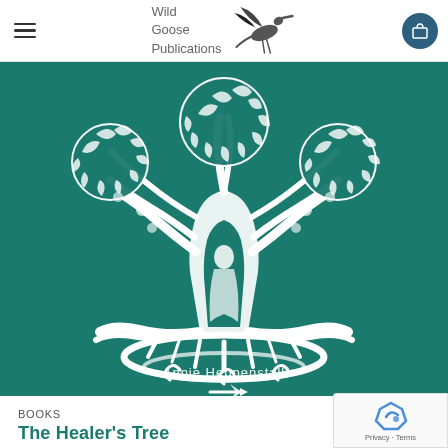Wild Goose Publications
[Figure (illustration): Book cover for 'The Healer's Tree' by Annie Heppenstall, featuring a white line-art tree of life illustration with roots and branches on a teal/dark green background. The author name 'Annie Heppenstall' appears at the bottom of the cover.]
BOOKS
The Healer's Tree